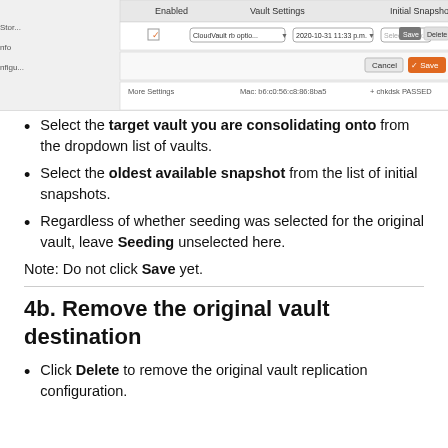[Figure (screenshot): A UI screenshot showing a vault settings table with columns: Enabled, Vault Settings, Initial Snapshot, USB Seeding. Contains a Save and Delete button, a Cancel button, and a row showing CloudVault configurations with date/time values. Shows 'Mac:' address and checkbox options at bottom.]
Select the target vault you are consolidating onto from the dropdown list of vaults.
Select the oldest available snapshot from the list of initial snapshots.
Regardless of whether seeding was selected for the original vault, leave Seeding unselected here.
Note: Do not click Save yet.
4b. Remove the original vault destination
Click Delete to remove the original vault replication configuration.